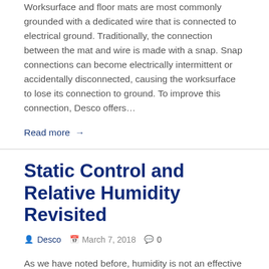Worksurface and floor mats are most commonly grounded with a dedicated wire that is connected to electrical ground. Traditionally, the connection between the mat and wire is made with a snap. Snap connections can become electrically intermittent or accidentally disconnected, causing the worksurface to lose its connection to ground. To improve this connection, Desco offers…
Read more →
Static Control and Relative Humidity Revisited
Desco   March 7, 2018   0
As we have noted before, humidity is not an effective way to control ESD in an electronics production environment. While the ability to generate static electricity increases when the air gets dryer (the % RH decreases), increased